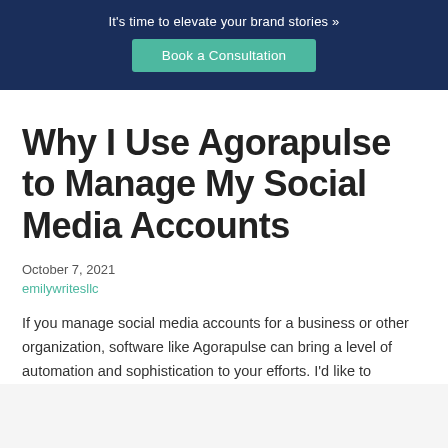It's time to elevate your brand stories »
Book a Consultation
Why I Use Agorapulse to Manage My Social Media Accounts
October 7, 2021
emilywritesllc
If you manage social media accounts for a business or other organization, software like Agorapulse can bring a level of automation and sophistication to your efforts. I'd like to